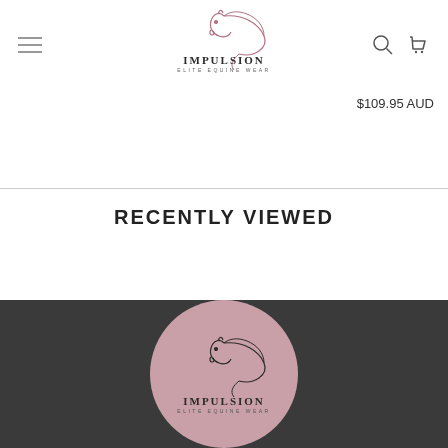Impulsion Elite Equine Wear – navigation header with hamburger menu, logo, search and cart icons
$109.95 AUD
RECENTLY VIEWED
[Figure (logo): Impulsion Elite Equine Wear logo on dark grey footer background – pink circle with horse illustration and brand name]